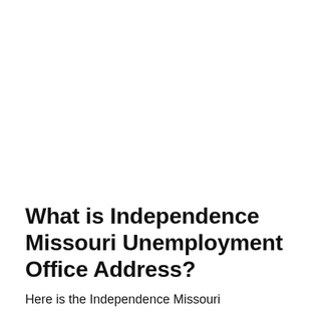What is Independence Missouri Unemployment Office Address?
Here is the Independence Missouri